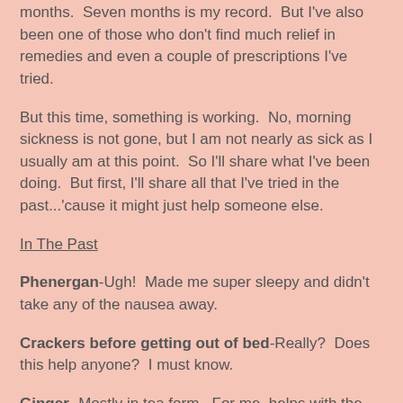months.  Seven months is my record.  But I've also been one of those who don't find much relief in remedies and even a couple of prescriptions I've tried.
But this time, something is working.  No, morning sickness is not gone, but I am not nearly as sick as I usually am at this point.  So I'll share what I've been doing.  But first, I'll share all that I've tried in the past...'cause it might just help someone else.
In The Past
Phenergan-Ugh!  Made me super sleepy and didn't take any of the nausea away.
Crackers before getting out of bed-Really?  Does this help anyone?  I must know.
Ginger- Mostly in tea form.  For me, helps with the saliva issue.  Anyone else deal with that too?
Zofran-Very expensive!  I was told it was a miracle for most